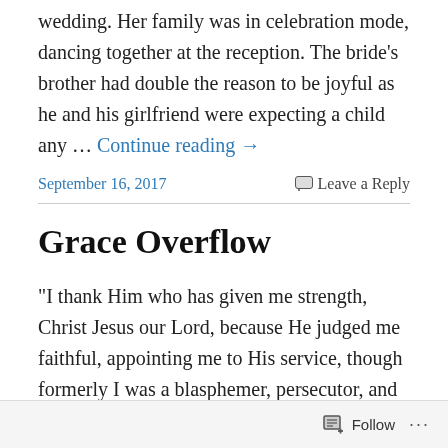wedding. Her family was in celebration mode, dancing together at the reception. The bride's brother had double the reason to be joyful as he and his girlfriend were expecting a child any … Continue reading →
September 16, 2017    Leave a Reply
Grace Overflow
"I thank Him who has given me strength, Christ Jesus our Lord, because He judged me faithful, appointing me to His service, though formerly I was a blasphemer, persecutor, and insolent opponent. But I received mercy because I had acted ignorantly in unbelief, and the grace of our Lord … Continue reading →
Follow